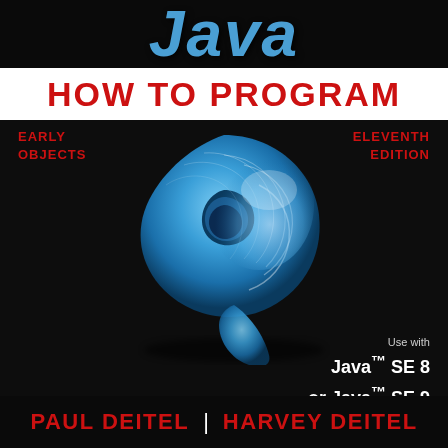Java
HOW TO PROGRAM
EARLY OBJECTS
ELEVENTH EDITION
[Figure (illustration): Blue nautilus shell on dark background, used as cover art for the textbook]
Use with Java™ SE 8 or Java™ SE 9
PAUL DEITEL | HARVEY DEITEL